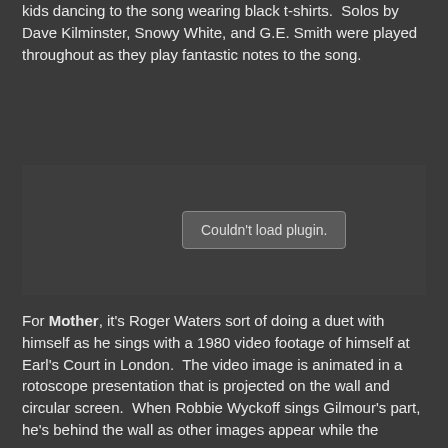kids dancing to the song wearing black t-shirts.  Solos by Dave Kilminster, Snowy White, and G.E. Smith were played throughout as they play fantastic notes to the song.
[Figure (other): Embedded plugin area showing 'Couldn't load plugin.' message]
For Mother, it's Roger Waters sort of doing a duet with himself as he sings with a 1980 video footage of himself at Earl's Court in London.  The video image is animated in a rotoscope presentation that is projected on the wall and circular screen.  When Robbie Wyckoff sings Gilmour's part, he's behind the wall as other images appear while the